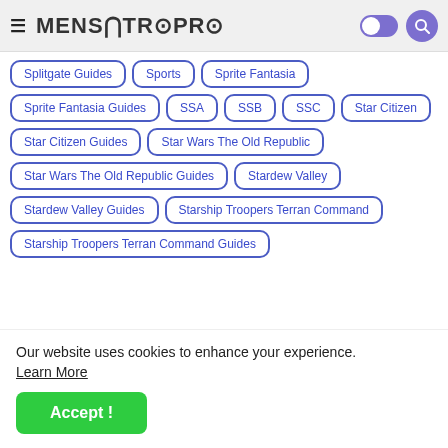≡ MENSUTROPRO [toggle] [search]
Splitgate Guides
Sports
Sprite Fantasia
Sprite Fantasia Guides
SSA
SSB
SSC
Star Citizen
Star Citizen Guides
Star Wars The Old Republic
Star Wars The Old Republic Guides
Stardew Valley
Stardew Valley Guides
Starship Troopers Terran Command
Starship Troopers Terran Command Guides
Our website uses cookies to enhance your experience. Learn More
Accept !